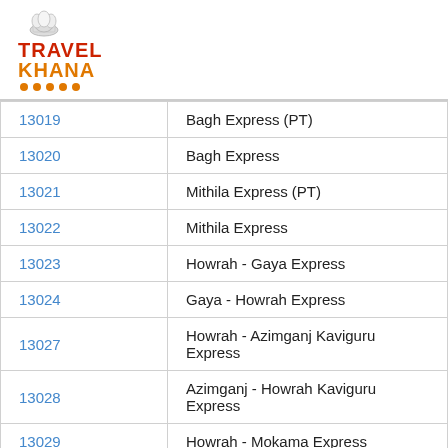[Figure (logo): TravelKhana logo with chef hat icon, red 'TRAVEL' text, orange 'Khana' text, and orange dots underline]
| Number | Train Name |
| --- | --- |
| 13019 | Bagh Express (PT) |
| 13020 | Bagh Express |
| 13021 | Mithila Express (PT) |
| 13022 | Mithila Express |
| 13023 | Howrah - Gaya Express |
| 13024 | Gaya - Howrah Express |
| 13027 | Howrah - Azimganj Kaviguru Express |
| 13028 | Azimganj - Howrah Kaviguru Express |
| 13029 | Howrah - Mokama Express |
| 13030 | Mokama - Howrah Express |